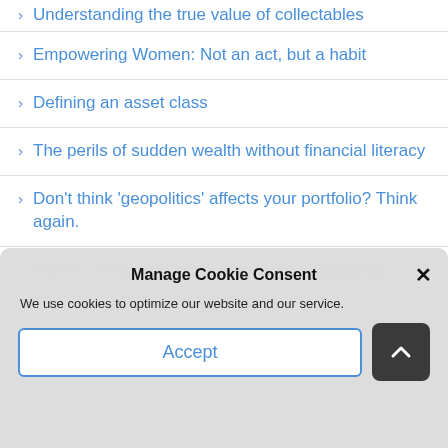Understanding the true value of collectables
Empowering Women: Not an act, but a habit
Defining an asset class
The perils of sudden wealth without financial literacy
Don't think 'geopolitics' affects your portfolio? Think again.
Video – IVXEON Crypto Assets and Valuations
Manage Cookie Consent
We use cookies to optimize our website and our service.
Accept